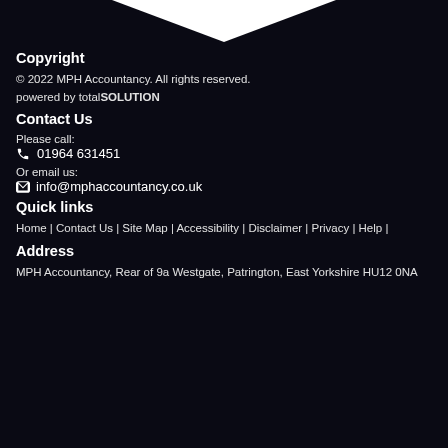[Figure (logo): White inverted triangle / chevron logo at top of dark background]
Copyright
© 2022 MPH Accountancy. All rights reserved.
powered by totalSOLUTION
Contact Us
Please call:
📞 01964 631451
Or email us:
✉ info@mphaccountancy.co.uk
Quick links
Home | Contact Us | Site Map | Accessibility | Disclaimer | Privacy | Help |
Address
MPH Accountancy, Rear of 9a Westgate, Patrington, East Yorkshire HU12 0NA